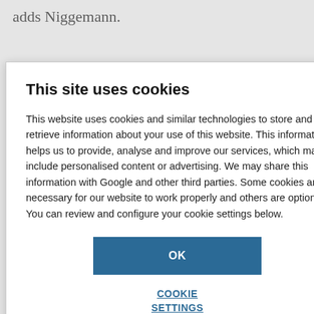adds Niggemann.
tones, Nelson biomass ketones ing another tool inks it might even th a carbon on centres. ‘This er-anion have s, he explains, e. ‘If that can be
This site uses cookies
This website uses cookies and similar technologies to store and retrieve information about your use of this website. This information helps us to provide, analyse and improve our services, which may include personalised content or advertising. We may share this information with Google and other third parties. Some cookies are necessary for our website to work properly and others are optional. You can review and configure your cookie settings below.
OK
COOKIE SETTINGS
DOI: